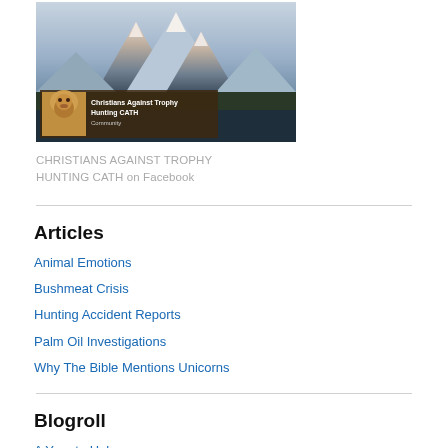[Figure (screenshot): Facebook community page banner for Christians Against Trophy Hunting CATH, showing a mountain landscape with snow-capped peaks and a lion thumbnail card overlay with text 'Christians Against Trophy Hunting CATH' and 'Community']
CHRISTIANS AGAINST TROPHY HUNTING CATH on Facebook
Articles
Animal Emotions
Bushmeat Crisis
Hunting Accident Reports
Palm Oil Investigations
Why The Bible Mentions Unicorns
Blogroll
A Year to Help